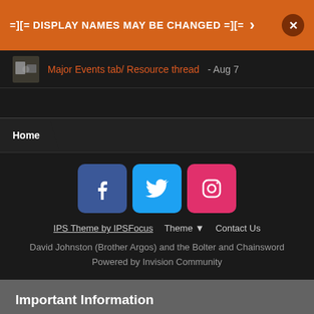=][= DISPLAY NAMES MAY BE CHANGED =][= >
Major Events tab/ Resource thread - Aug 7
Home
[Figure (illustration): Three social media buttons: Facebook (blue), Twitter (cyan), Instagram (pink/red)]
IPS Theme by IPSFocus   Theme ▼   Contact Us
David Johnston (Brother Argos) and the Bolter and Chainsword
Powered by Invision Community
Important Information
By using this site, you agree to our Terms of Use.
✔ I accept